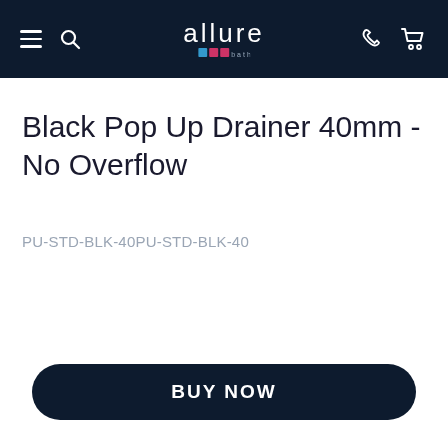allure bathrooms
Black Pop Up Drainer 40mm - No Overflow
PU-STD-BLK-40PU-STD-BLK-40
BUY NOW